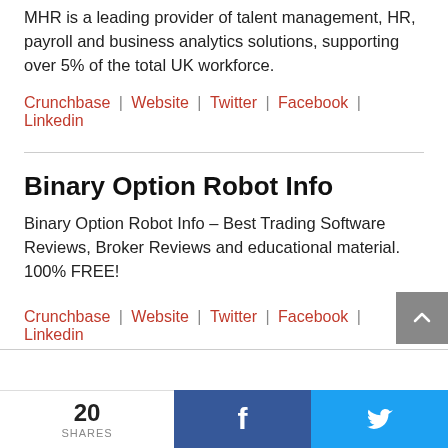MHR is a leading provider of talent management, HR, payroll and business analytics solutions, supporting over 5% of the total UK workforce.
Crunchbase | Website | Twitter | Facebook | Linkedin
Binary Option Robot Info
Binary Option Robot Info – Best Trading Software Reviews, Broker Reviews and educational material. 100% FREE!
Crunchbase | Website | Twitter | Facebook | Linkedin
20 SHARES